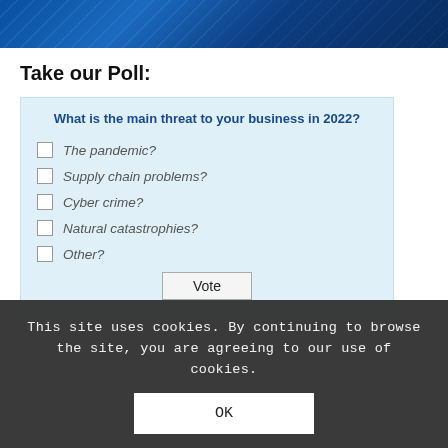[Figure (illustration): Blue gradient wave banner header image]
Take our Poll:
What is the main threat to your business in 2022?
The pandemic?
Supply chain problems?
Cyber crime?
Natural catastrophies?
Other?
Vote
This site uses cookies. By continuing to browse the site, you are agreeing to our use of cookies.
OK